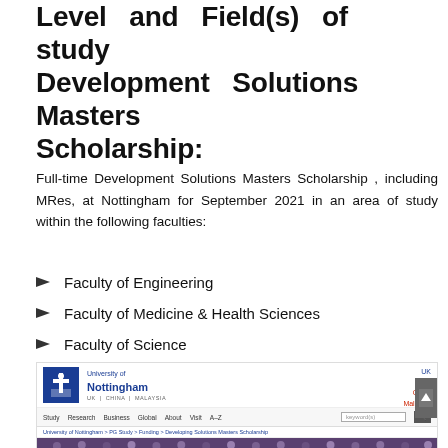Level and Field(s) of study Development Solutions Masters Scholarship:
Full-time Development Solutions Masters Scholarship , including MRes, at Nottingham for September 2021 in an area of study within the following faculties:
Faculty of Engineering
Faculty of Medicine & Health Sciences
Faculty of Science
Faculty of Social Science
[Figure (screenshot): Screenshot of the University of Nottingham website showing the logo, navigation bar with links to Study, Research, Business, Global, About, Visit, A-Z, a search box, breadcrumb navigation, and a photo of a group of scholarship students.]